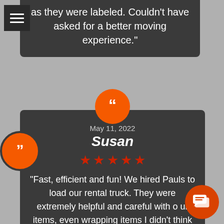[Figure (other): Hamburger menu icon (three horizontal white lines on dark background)]
as they were labeled. Couldn't have asked for a better moving experience."
May 11, 2022
Susan
★★★★★
"Fast, efficient and fun! We hired Pauls to load our rental truck. They were extremely helpful and careful with our items, even wrapping items I didn't think to. The truck was loaded so fast